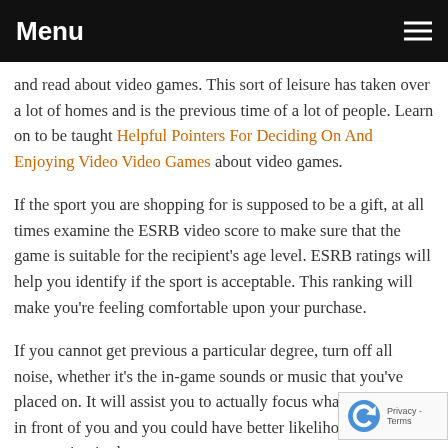Menu
and read about video games. This sort of leisure has taken over a lot of homes and is the previous time of a lot of people. Learn on to be taught Helpful Pointers For Deciding On And Enjoying Video Video Games about video games.
If the sport you are shopping for is supposed to be a gift, at all times examine the ESRB video score to make sure that the game is suitable for the recipient's age level. ESRB ratings will help you identify if the sport is acceptable. This ranking will make you're feeling comfortable upon your purchase.
If you cannot get previous a particular degree, turn off all noise, whether it's the in-game sounds or music that you've placed on. It will assist you to actually focus what is happening in front of you and you could have better likelihood of progressing in the sport.